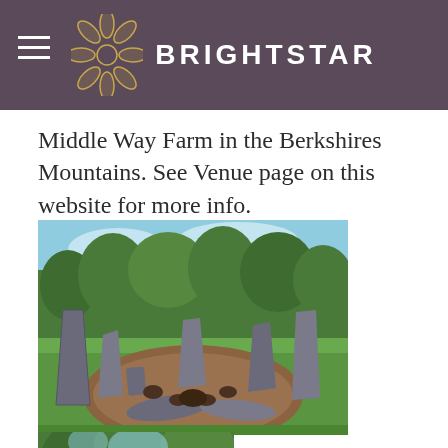BRIGHTSTAR
Middle Way Farm in the Berkshires Mountains. See Venue page on this website for more info.
[Figure (photo): Outdoor stone circle arrangement with large standing stones, flat stones, and tree stump seats on a wood chip ground area, surrounded by green grass and trees under a blue sky.]
[Figure (photo): Partially visible photo of a wooded area with trees and blue sky, appears to be a road or path through trees.]